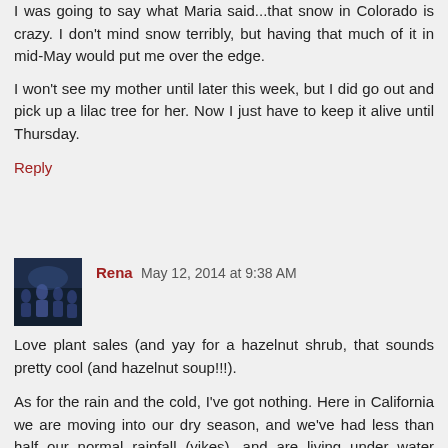I was going to say what Maria said...that snow in Colorado is crazy. I don't mind snow terribly, but having that much of it in mid-May would put me over the edge.
I won't see my mother until later this week, but I did go out and pick up a lilac tree for her. Now I just have to keep it alive until Thursday.
Reply
Rena  May 12, 2014 at 9:38 AM
Love plant sales (and yay for a hazelnut shrub, that sounds pretty cool (and hazelnut soup!!!).
As for the rain and the cold, I've got nothing. Here in California we are moving into our dry season, and we've had less than half our normal rainfall (yikes), and are living under water rationing. But the weather has been nice-ish. I'm not saying to feel lucky, because if the weather isn't doing what you want, that sucks. I am posting solidarity in the "Why won't the weather do the things we need?" category.